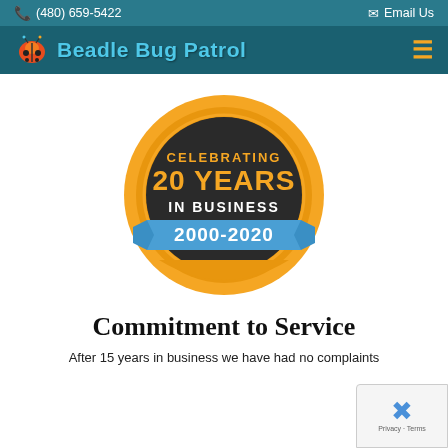(480) 659-5422   Email Us
Beadle Bug Patrol
[Figure (logo): Beadle Bug Patrol logo badge: orange circle with dark center, text reading CELEBRATING 20 YEARS IN BUSINESS, blue ribbon banner with 2000-2020]
Commitment to Service
After 15 years in business we have had no complaints